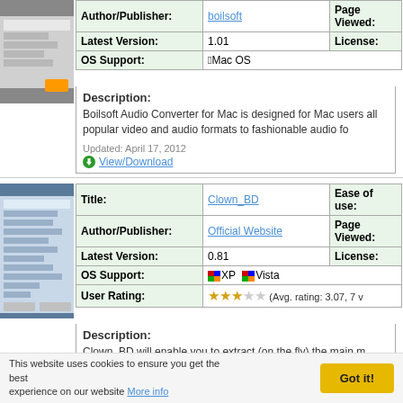| Field | Value | Field2 |
| --- | --- | --- |
| Author/Publisher: | boilsoft | Page Viewed: |
| Latest Version: | 1.01 | License: |
| OS Support: | Mac OS |  |
Description: Boilsoft Audio Converter for Mac is designed for Mac users all popular video and audio formats to fashionable audio fo...
Updated: April 17, 2012
View/Download
| Field | Value | Field2 |
| --- | --- | --- |
| Title: | Clown_BD | Ease of use: |
| Author/Publisher: | Official Website | Page Viewed: |
| Latest Version: | 0.81 | License: |
| OS Support: | XP Vista |  |
| User Rating: | (Avg. rating: 3.07, 7 v |  |
Description: Clown_BD will enable you to extract (on the fly) the main movie language streams of your choice, resulting in either transparent (for Media Jukebox), an ISO image (for PowerDVD) or ever BD disk (for standalone players).
Updated: June 1, 2013
View/Download
This website uses cookies to ensure you get the best experience on our website More info